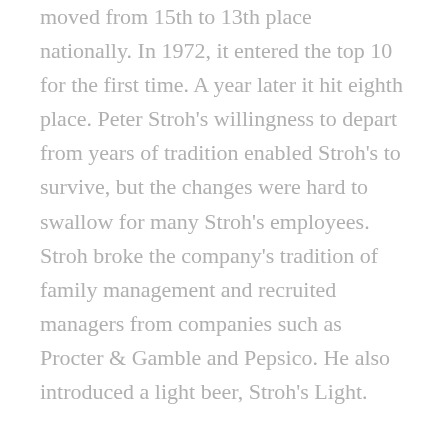moved from 15th to 13th place nationally. In 1972, it entered the top 10 for the first time. A year later it hit eighth place. Peter Stroh's willingness to depart from years of tradition enabled Stroh's to survive, but the changes were hard to swallow for many Stroh's employees. Stroh broke the company's tradition of family management and recruited managers from companies such as Procter & Gamble and Pepsico. He also introduced a light beer, Stroh's Light.
By 1978, Stroh's served 17 states when it produced 6.4 million barrels of beer. By this time, the original Detroit facility was 128 years old and had a capacity